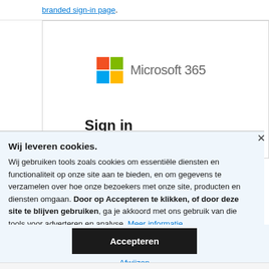branded sign-in page.
[Figure (screenshot): Microsoft 365 sign-in page partially visible behind cookie consent overlay, showing the Microsoft 365 logo (colorful Windows squares + 'Microsoft 365' text) and partially visible 'Sign in' heading.]
Wij leveren cookies. Wij gebruiken tools zoals cookies om essentiële diensten en functionaliteit op onze site aan te bieden, en om gegevens te verzamelen over hoe onze bezoekers met onze site, producten en diensten omgaan. Door op Accepteren te klikken, of door deze site te blijven gebruiken, ga je akkoord met ons gebruik van die tools voor adverteren en analyse. Meer informatie
Accepteren
Afwijzen
Instellingen beheren